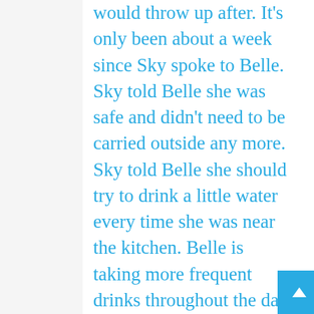would throw up after. It's only been about a week since Sky spoke to Belle. Sky told Belle she was safe and didn't need to be carried outside any more. Sky told Belle she should try to drink a little water every time she was near the kitchen. Belle is taking more frequent drinks throughout the day and went outside two times during daylight hours today and I didn't have to carry her outside. Sky, thanks so much for your help with